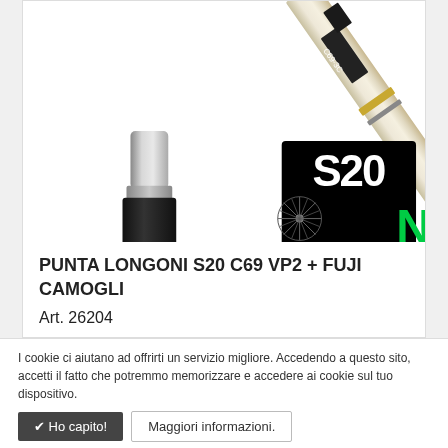[Figure (photo): Product photo showing a billiard/pool cue with S20 C69 joint and shaft, a metal ferrule/tip component, and the S20 Longoni brand logo on a black background with green N letter]
PUNTA LONGONI S20 C69 VP2 + FUJI CAMOGLI
Art. 26204
I cookie ci aiutano ad offrirti un servizio migliore. Accedendo a questo sito, accetti il fatto che potremmo memorizzare e accedere ai cookie sul tuo dispositivo.
✔ Ho capito!
Maggiori informazioni.